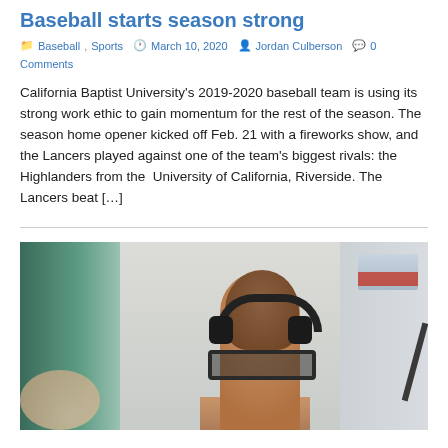Baseball starts season strong
Baseball, Sports  March 10, 2020  Jordan Culberson  0 Comments
California Baptist University's 2019-2020 baseball team is using its strong work ethic to gain momentum for the rest of the season. The season home opener kicked off Feb. 21 with a fireworks show, and the Lancers played against one of the team's biggest rivals: the Highlanders from the  University of California, Riverside. The Lancers beat […]
[Figure (photo): Photo of a person from behind wearing black headphones and glasses, with brown hair, at what appears to be an outdoor sports venue. Background shows green structure on the left and blurred elements.]